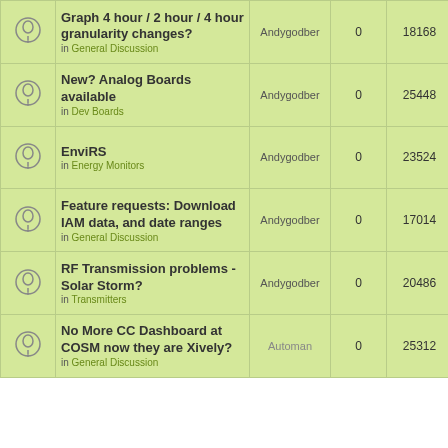|  | Topic | Author | Replies | Views | Last Post |
| --- | --- | --- | --- | --- | --- |
| [icon] | Graph 4 hour / 2 hour / 4 hour granularity changes?
in General Discussion | Andygodber | 0 | 18168 | Thu Nov 24, 2011 3:02 pm
Andygodber |
| [icon] | New? Analog Boards available
in Dev Boards | Andygodber | 0 | 25448 | Mon Dec 19, 2011 10:31 am
Andygodber |
| [icon] | EnviRS
in Energy Monitors | Andygodber | 0 | 23524 | Sat Apr 21, 2012 9:11 am
Andygodber |
| [icon] | Feature requests: Download IAM data, and date ranges
in General Discussion | Andygodber | 0 | 17014 | Fri Nov 18, 2011 9:16 am
Andygodber |
| [icon] | RF Transmission problems - Solar Storm?
in Transmitters | Andygodber | 0 | 20486 | Sun Mar 11, 2012 6:48 pm
Andygodber |
| [icon] | No More CC Dashboard at COSM now they are Xively?
in General Discussion | Automan | 0 | 25312 | Wed May 15, 2013 10:13 pm
Automan |